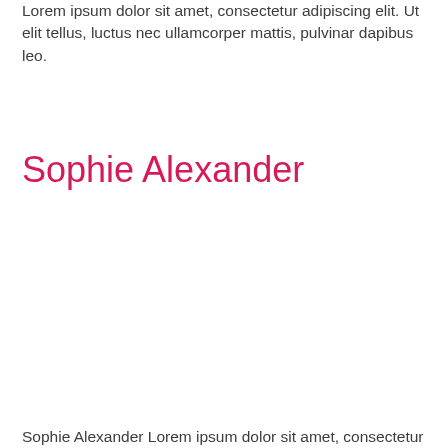Lorem ipsum dolor sit amet, consectetur adipiscing elit. Ut elit tellus, luctus nec ullamcorper mattis, pulvinar dapibus leo.
Sophie Alexander
Sophie Alexander Lorem ipsum dolor sit amet, consectetur